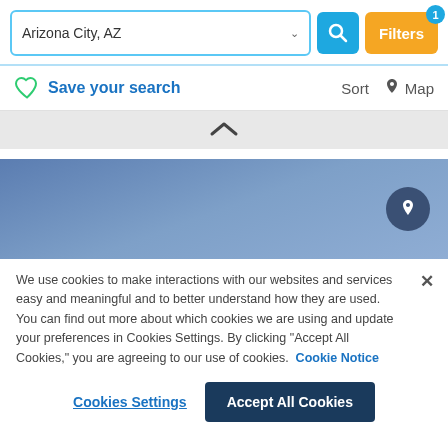Arizona City, AZ
Filters 1
Save your search
Sort   Map
[Figure (map): Blue gradient map area with a location pin circle on the right side]
We use cookies to make interactions with our websites and services easy and meaningful and to better understand how they are used. You can find out more about which cookies we are using and update your preferences in Cookies Settings. By clicking "Accept All Cookies," you are agreeing to our use of cookies.  Cookie Notice
Cookies Settings
Accept All Cookies